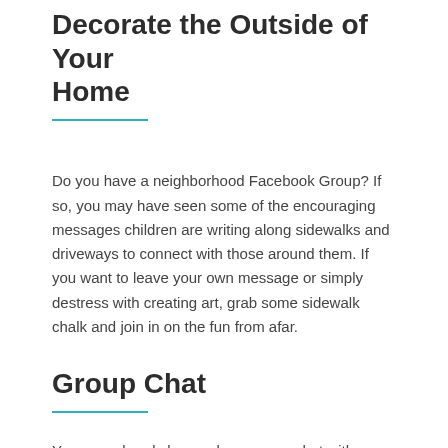Decorate the Outside of Your Home
Do you have a neighborhood Facebook Group? If so, you may have seen some of the encouraging messages children are writing along sidewalks and driveways to connect with those around them. If you want to leave your own message or simply destress with creating art, grab some sidewalk chalk and join in on the fun from afar.
Group Chat
You may already have a busy group chat with family members or close friends, but the more the merrier! Consider creating group chats for old friends you want to reconnect with or just friends you haven't been able